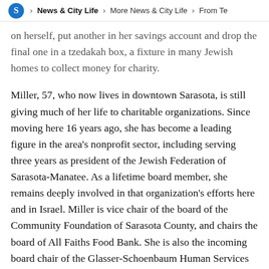S > News & City Life > More News & City Life > From Te
on herself, put another in her savings account and drop the final one in a tzedakah box, a fixture in many Jewish homes to collect money for charity.
Miller, 57, who now lives in downtown Sarasota, is still giving much of her life to charitable organizations. Since moving here 16 years ago, she has become a leading figure in the area's nonprofit sector, including serving three years as president of the Jewish Federation of Sarasota-Manatee. As a lifetime board member, she remains deeply involved in that organization's efforts here and in Israel. Miller is vice chair of the board of the Community Foundation of Sarasota County, and chairs the board of All Faiths Food Bank. She is also the incoming board chair of the Glasser-Schoenbaum Human Services Center and chairs financial resource development and community outreach for the community services committee of the Jewish Agency for Israel.